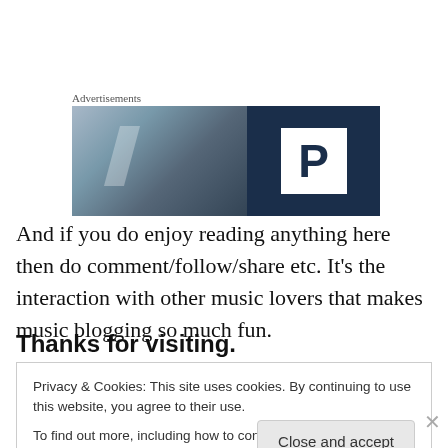[Figure (photo): Advertisement banner image with a blurred building/glass window on the left half and a dark navy blue background with a white 'P' (parking logo) box on the right half. Labeled 'Advertisements' above.]
And if you do enjoy reading anything here then do comment/follow/share etc. It’s the interaction with other music lovers that makes music blogging so much fun.
Thanks for visiting.
Privacy & Cookies: This site uses cookies. By continuing to use this website, you agree to their use.
To find out more, including how to control cookies, see here: Cookie Policy